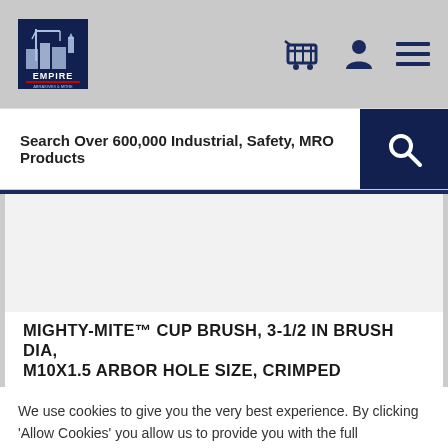Empire Abrasives — Search Over 600,000 Industrial, Safety, MRO Products
[Figure (screenshot): Empire logo with construction imagery on dark navy blue background]
Search Over 600,000 Industrial, Safety, MRO Products
MIGHTY-MITE™ CUP BRUSH, 3-1/2 IN BRUSH DIA, M10X1.5 ARBOR HOLE SIZE, CRIMPED
We use cookies to give you the very best experience. By clicking 'Allow Cookies' you allow us to provide you with the full experience. If you'd like to know more, please read our Privacy Policy
ALLOW COOKIES
COOKIES SETTINGS